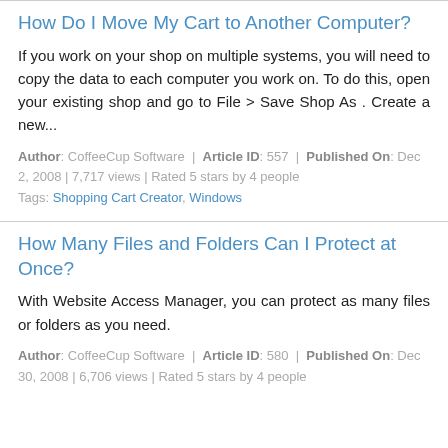How Do I Move My Cart to Another Computer?
If you work on your shop on multiple systems, you will need to copy the data to each computer you work on. To do this, open your existing shop and go to File > Save Shop As . Create a new...
Author: CoffeeCup Software | Article ID: 557 | Published On: Dec 2, 2008 | 7,717 views | Rated 5 stars by 4 people Tags: Shopping Cart Creator, Windows
How Many Files and Folders Can I Protect at Once?
With Website Access Manager, you can protect as many files or folders as you need.
Author: CoffeeCup Software | Article ID: 580 | Published On: Dec 30, 2008 | 6,706 views | Rated 5 stars by 4 people